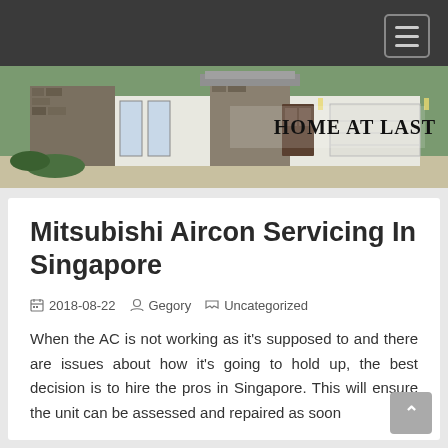[Figure (screenshot): Website navigation bar with dark gray background and hamburger menu button (three horizontal lines) in top right corner]
[Figure (photo): Banner image of a modern single-story house with stone and white stucco exterior, large garage door, and text 'HOME AT LAST' overlaid on the right side]
Mitsubishi Aircon Servicing In Singapore
2018-08-22   Gegory   Uncategorized
When the AC is not working as it's supposed to and there are issues about how it's going to hold up, the best decision is to hire the pros in Singapore. This will ensure the unit can be assessed and repaired as soon